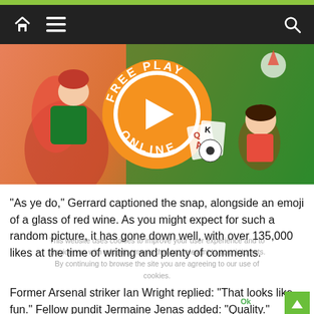Navigation bar with home, menu, and search icons
[Figure (illustration): Colorful gaming banner with cartoon characters and a 'FREE PLAY ONLINE' orange badge with play button in the center]
"As ye do," Gerrard captioned the snap, alongside an emoji of a glass of red wine. As you might expect for such a random picture, it has gone down well, with over 135,000 likes at the time of writing and plenty of comments.
Former Arsenal striker Ian Wright replied: "That looks like fun." Fellow pundit Jermaine Jenas added: "Quality."
This website uses cookies to improve your user experience and to provide you with advertisements that are relevant to your interests. By continuing to browse the site you are agreeing to our use of cookies.